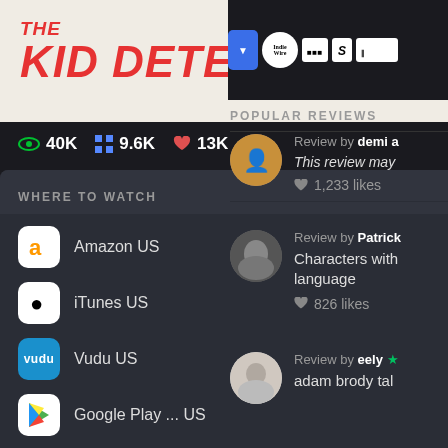[Figure (screenshot): Movie title banner showing 'THE KID DETECTIVE' in bold red italic text on a light background]
👁 40K  ⊞ 9.6K  ♥ 13K
WHERE TO WATCH
▶ Trailer
Amazon US  BUY  DISC
iTunes US  BUY
Vudu US  BUY
Google Play ...  US  BUY
Go PRO to customize this list
All services...      ▶JustWatch
REMOVE ADS ×
[Figure (screenshot): Top logo strip showing IndieWire, Slant and other critic publication logos on dark background]
POPULAR REVIEWS
Review by demi a
This review may
♥ 1,233 likes
Review by Patrick
Characters with language
♥ 826 likes
Review by eely ★
adam brody tal